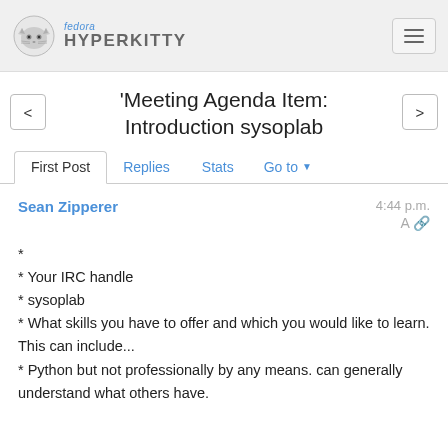fedora HYPERKITTY
'Meeting Agenda Item: Introduction sysoplab
First Post  Replies  Stats  Go to
Sean Zipperer   4:44 p.m.
*
* Your IRC handle
* sysoplab
* What skills you have to offer and which you would like to learn. This can include...
* Python but not professionally by any means. can generally understand what others have.